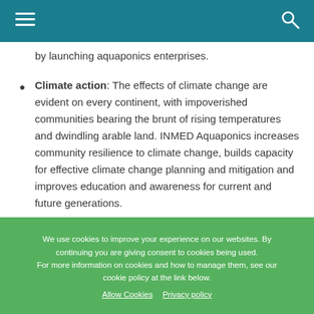by launching aquaponics enterprises.
Climate action: The effects of climate change are evident on every continent, with impoverished communities bearing the brunt of rising temperatures and dwindling arable land. INMED Aquaponics increases community resilience to climate change, builds capacity for effective climate change planning and mitigation and improves education and awareness for current and future generations.
We use cookies to improve your experience on our websites. By continuing you are giving consent to cookies being used. For more information on cookies and how to manage them, see our cookie policy at the link below.
Allow Cookies   Privacy policy